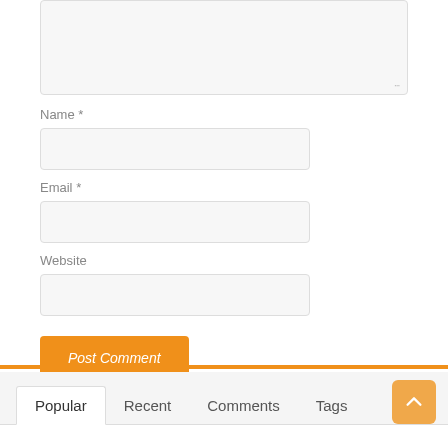[Figure (screenshot): A web comment form with a textarea (partially visible at top), followed by Name, Email, and Website text input fields, each labeled with asterisks for required fields, and a Post Comment submit button styled in orange. Below an orange horizontal divider is a tab widget showing Popular, Recent, Comments, and Tags tabs, with Popular active. A scroll-to-top button is at the bottom right corner.]